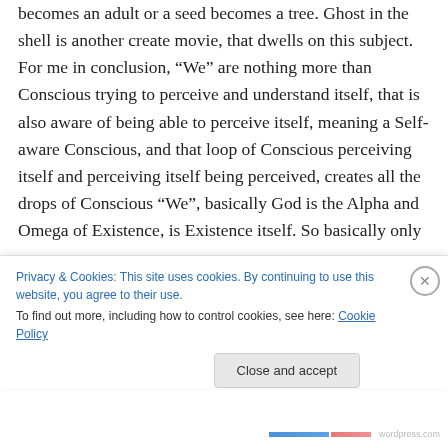becomes an adult or a seed becomes a tree. Ghost in the shell is another create movie, that dwells on this subject. For me in conclusion, “We” are nothing more than Conscious trying to perceive and understand itself, that is also aware of being able to perceive itself, meaning a Self-aware Conscious, and that loop of Conscious perceiving itself and perceiving itself being perceived, creates all the drops of Conscious “We”, basically God is the Alpha and Omega of Existence, is Existence itself. So basically only
Privacy & Cookies: This site uses cookies. By continuing to use this website, you agree to their use.
To find out more, including how to control cookies, see here: Cookie Policy
Close and accept